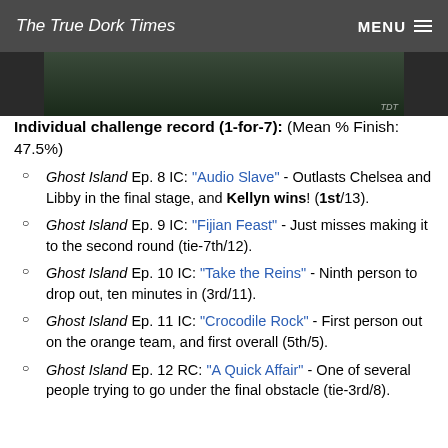The True Dork Times  MENU
[Figure (photo): Partial photo of a person outdoors with green foliage in background, cropped at top. TDT watermark visible at bottom right.]
Individual challenge record (1-for-7): (Mean % Finish: 47.5%)
Ghost Island Ep. 8 IC: "Audio Slave" - Outlasts Chelsea and Libby in the final stage, and Kellyn wins! (1st/13).
Ghost Island Ep. 9 IC: "Fijian Feast" - Just misses making it to the second round (tie-7th/12).
Ghost Island Ep. 10 IC: "Take the Reins" - Ninth person to drop out, ten minutes in (3rd/11).
Ghost Island Ep. 11 IC: "Crocodile Rock" - First person out on the orange team, and first overall (5th/5).
Ghost Island Ep. 12 RC: "A Quick Affair" - One of several people trying to go under the final obstacle (tie-3rd/8).